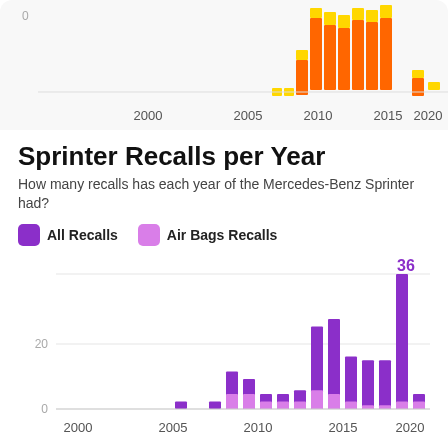[Figure (stacked-bar-chart): Partial stacked bar chart visible at top of page showing orange/yellow bars from ~2007-2021]
Sprinter Recalls per Year
How many recalls has each year of the Mercedes-Benz Sprinter had?
All Recalls  Air Bags Recalls
[Figure (stacked-bar-chart): Sprinter Recalls per Year]